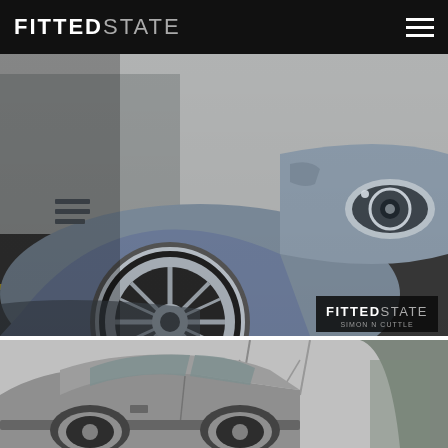FITTED STATE — navigation header with hamburger menu
[Figure (photo): Close-up photograph of a lowered silver/grey BMW M3 (E46) showing the front fender, wheel arch, large chrome multi-spoke wheel, headlight with angel eye rings, side vents, and road surface with yellow line. Black and white toned image.]
[Figure (logo): FITTEDSTATE watermark logo in bottom-right corner of top photo, with subtitle text 'SIMON N CUTTLE']
[Figure (photo): Black and white photograph showing side profile of a lowered silver BMW M3 (E46) coupe parked on a road, with bare trees and an evergreen tree visible in background.]